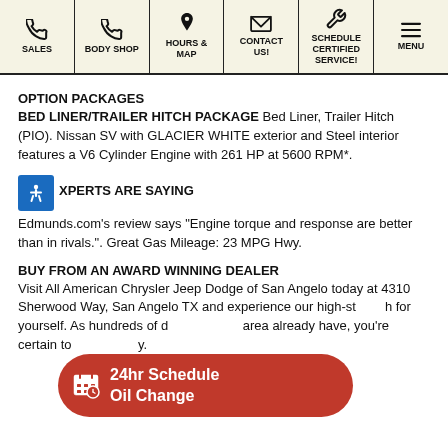[Figure (screenshot): Navigation bar with icons for SALES, BODY SHOP, HOURS & MAP, CONTACT US!, SCHEDULE CERTIFIED SERVICE!, MENU]
OPTION PACKAGES
BED LINER/TRAILER HITCH PACKAGE Bed Liner, Trailer Hitch (PIO). Nissan SV with GLACIER WHITE exterior and Steel interior features a V6 Cylinder Engine with 261 HP at 5600 RPM*.
XPERTS ARE SAYING
Edmunds.com's review says "Engine torque and response are better than in rivals.". Great Gas Mileage: 23 MPG Hwy.
BUY FROM AN AWARD WINNING DEALER
Visit All American Chrysler Jeep Dodge of San Angelo today at 4310 Sherwood Way, San Angelo TX and experience our high-st... h for yourself. As hundreds of d... area already have, you're certain to ... y.
[Figure (other): Red rounded button overlay: 24hr Schedule Oil Change]